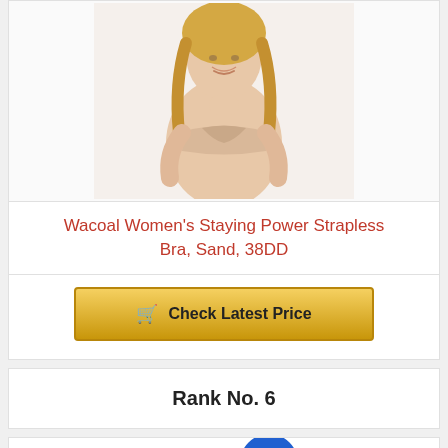[Figure (photo): Woman wearing a nude/sand colored strapless bra, smiling, blonde hair, white background]
Wacoal Women's Staying Power Strapless Bra, Sand, 38DD
Check Latest Price
Rank No. 6
[Figure (photo): Red and blue plastic toy objects, partially visible at bottom of page]